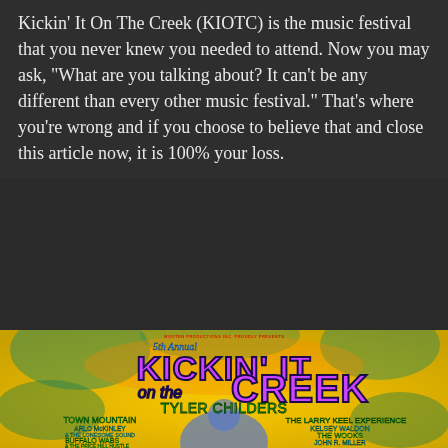Kickin' It On The Creek (KIOTC) is the music festival that you never knew you needed to attend. Now you may ask, "What are you talking about? It can't be any different than every other music festival." That's where you're wrong and if you choose to believe that and close this article now, it is 100% your loss.
[Figure (illustration): Music festival poster for '5th Annual Kickin' It on the Creek' featuring colorful psychedelic art with artist lineup including Tyler Childers, Town Mountain, The Larry Keel Experience, Arlo McKinley & The Lonesome Sound, Kelsey Waldon, The Wooks, Buffalo Wabs & The Price Hill Hustle, John R. Miller & The Engine Lights, Senora May, Magnolia Boulevard, ONA, Wayne Graham, Vintage Pistol, Joslyn and the...]